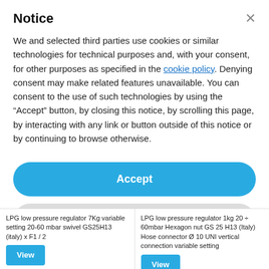Notice
We and selected third parties use cookies or similar technologies for technical purposes and, with your consent, for other purposes as specified in the cookie policy. Denying consent may make related features unavailable. You can consent to the use of such technologies by using the “Accept” button, by closing this notice, by scrolling this page, by interacting with any link or button outside of this notice or by continuing to browse otherwise.
Accept
Learn more and customize
LPG low pressure regulator 7Kg variable setting 20-60 mbar swivel GS25H13 (italy) x F1 / 2
LPG low pressure regulator 1kg 20 ÷ 60mbar Hexagon nut GS 25 H13 (Italy) Hose connector Ø 10 UNI vertical connection variable setting